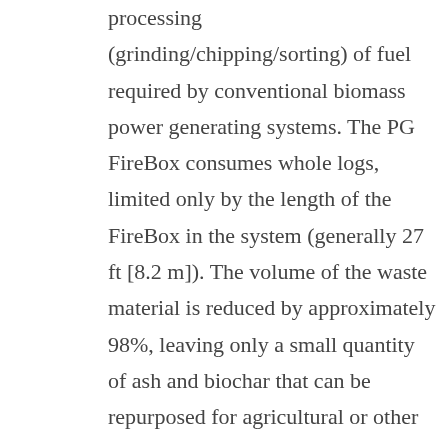processing (grinding/chipping/sorting) of fuel required by conventional biomass power generating systems. The PG FireBox consumes whole logs, limited only by the length of the FireBox in the system (generally 27 ft [8.2 m]). The volume of the waste material is reduced by approximately 98%, leaving only a small quantity of ash and biochar that can be repurposed for agricultural or other uses.
A portion of the ‘waste’ heat in the exhaust from the FireBox is captured and directed to a heat exchanger to heat a thermal oil, which in